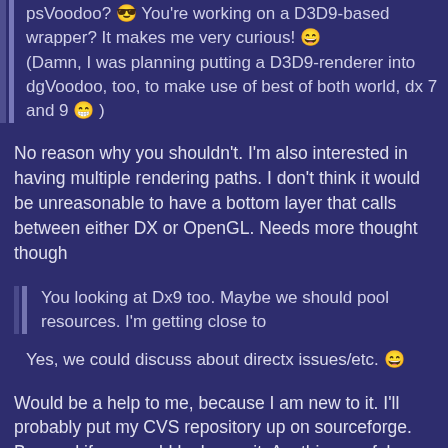psVoodoo? 😎 You're working on a D3D9-based wrapper? It makes me very curious! 😄 (Damn, I was planning putting a D3D9-renderer into dgVoodoo, too, to make use of best of both world, dx 7 and 9 😁 )
No reason why you shouldn't. I'm also interested in having multiple rendering paths. I don't think it would be unreasonable to have a bottom layer that calls between either DX or OpenGL. Needs more thought though
You looking at Dx9 too. Maybe we should pool resources. I'm getting close to
Yes, we could discuss about directx issues/etc. 😄
Would be a help to me, because I am new to it. I'll probably put my CVS repository up on sourceforge. Be good if you could look over it. Anything useful you could use. Anything